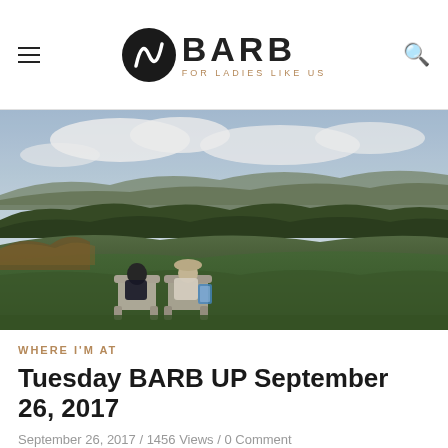BARB FOR LADIES LIKE US
[Figure (photo): Two people sitting in Adirondack chairs on a grassy hill overlooking a wide valley landscape with trees and cloudy sky]
WHERE I'M AT
Tuesday BARB UP September 26, 2017
September 26, 2017 / 1456 Views / 0 Comment
Oh there are so many scary things in the midst at the moment,